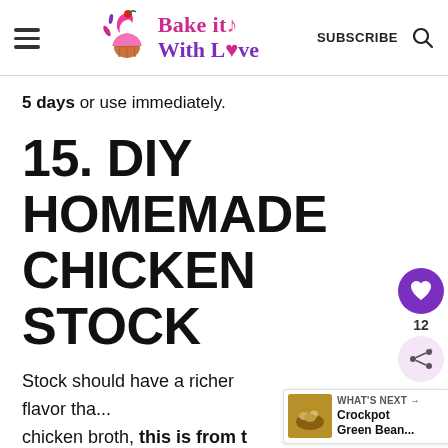Bake it With Love — SUBSCRIBE
5 days or use immediately.
15. DIY HOMEMADE CHICKEN STOCK
Stock should have a richer flavor tha... chicken broth, this is from the of bones rather than relying on the